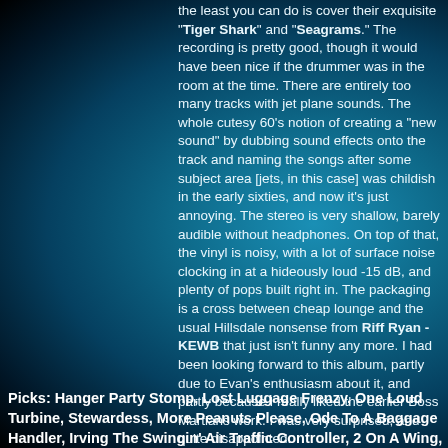the least you can do is cover their exquisite "Tiger Shark" and "Seagrams." The recording is pretty good, though it would have been nice if the drummer was in the room at the time. There are entirely too many tracks with jet plane sounds. The whole cutesy 60's notion of creating a "new sound" by dubbing sound effects onto the track and naming the songs after some subject area [jets, in this case] was childish in the early sixties, and now it's just annoying. The stereo is very shallow, barely audible without headphones. On top of that, the vinyl is noisy, with a lot of surface noise clocking in at a hideously loud -15 dB, and plenty of pops built right in. The packaging is a cross between cheap lounge and the usual Hillsdale nonsense from Riff Ryan - KEWB that just isn't funny any more. I had been looking forward to this album, partly due to Evan's enthusiasm about it, and partly because I really liked the earlier Boss Martians work. I was very surprised, and quite disappointed.
Picks: Hanger Party Stomp, Lost Luggage Frenzy, One Loud Turbine, Stewardess, More Peanuts Please, Ode To A Baggage Handler, Irving The Swingin' Air Traffic Controller, 2 On A Wing,